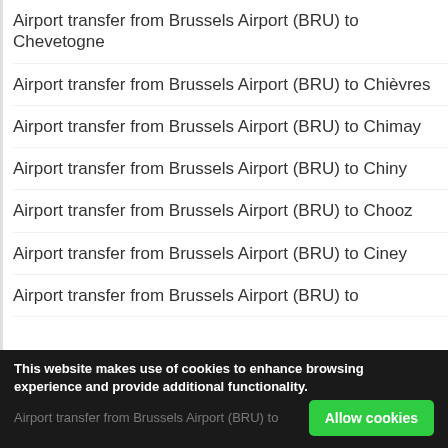Airport transfer from Brussels Airport (BRU) to Chevetogne
Airport transfer from Brussels Airport (BRU) to Chièvres
Airport transfer from Brussels Airport (BRU) to Chimay
Airport transfer from Brussels Airport (BRU) to Chiny
Airport transfer from Brussels Airport (BRU) to Chooz
Airport transfer from Brussels Airport (BRU) to Ciney
Airport transfer from Brussels Airport (BRU) to (partially visible)
This website makes use of cookies to enhance browsing experience and provide additional functionality.
Airport transfer from Brussels Airport (BRU) to (partially visible, dimmed)
Allow cookies